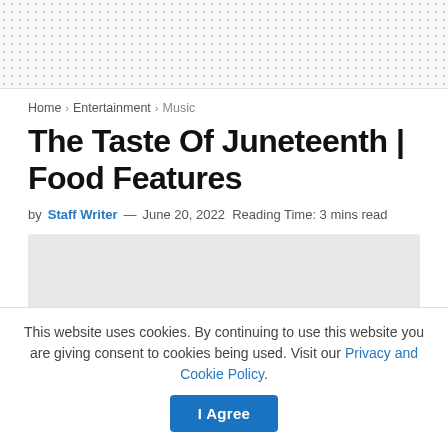Home > Entertainment > Music
The Taste Of Juneteenth | Food Features
by Staff Writer — June 20, 2022  Reading Time: 3 mins read
[Figure (photo): Gray placeholder image for article]
This website uses cookies. By continuing to use this website you are giving consent to cookies being used. Visit our Privacy and Cookie Policy.